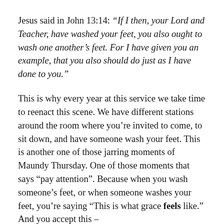Jesus said in John 13:14: “If I then, your Lord and Teacher, have washed your feet, you also ought to wash one another’s feet. For I have given you an example, that you also should do just as I have done to you.”
This is why every year at this service we take time to reenact this scene. We have different stations around the room where you’re invited to come, to sit down, and have someone wash your feet. This is another one of those jarring moments of Maundy Thursday. One of those moments that says “pay attention”. Because when you wash someone’s feet, or when someone washes your feet, you’re saying “This is what grace feels like.” And you accept this –